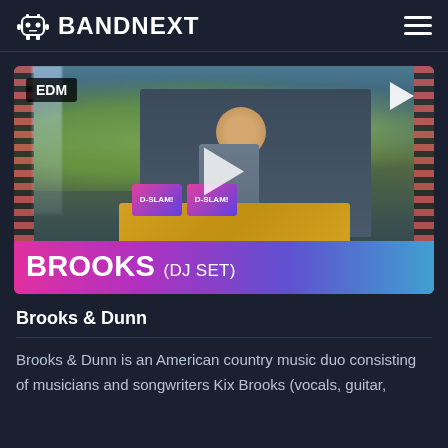BANDNEXT
[Figure (photo): DJ Brooks performing a DJ set on an outdoor festival stage with colorful lights, DJ equipment with D-SLAM branding, festival crowd background. EDM badge in top-left corner, play button overlay in center and top-right.]
Brooks & Dunn
Brooks & Dunn is an American country music duo consisting of musicians and songwriters Kix Brooks (vocals, guitar,